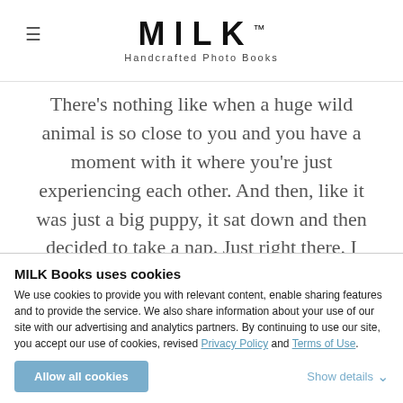MILK™ Handcrafted Photo Books
There's nothing like when a huge wild animal is so close to you and you have a moment with it where you're just experiencing each other. And then, like it was just a big puppy, it sat down and then decided to take a nap. Just right there. I know it can seem mundane but for a wild animal to be so comfortable around you to do that is just unreal. It was amazing in how small and comfortable of a moment it was. And its big furry paw!! I lov
MILK Books uses cookies
We use cookies to provide you with relevant content, enable sharing features and to provide the service. We also share information about your use of our site with our advertising and analytics partners. By continuing to use our site, you accept our use of cookies, revised Privacy Policy and Terms of Use.